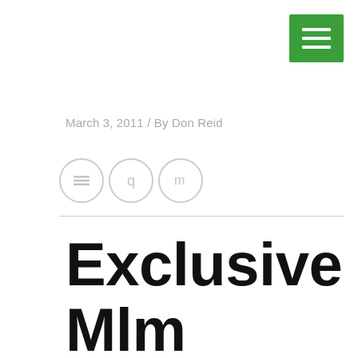[Figure (other): Green square button with three horizontal white lines (hamburger/menu icon)]
March 3, 2011 / By Don Reid
[Figure (other): Three social share icon circles with symbols: equals sign, q, m]
Exclusive Mlm Leads, 3 Powerful